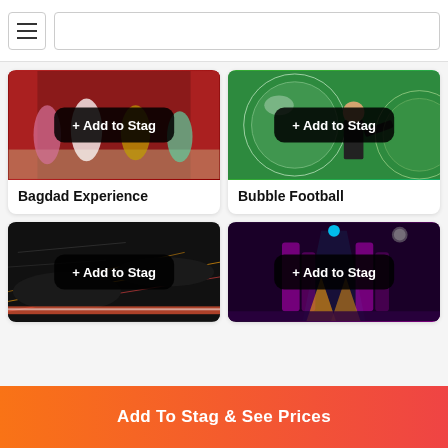[Figure (screenshot): Top navigation bar with hamburger menu icon and search bar on left, partial card header on right]
[Figure (photo): Bagdad Experience: showgirls in costumes on a stage with red curtains, '+ Add to Stag' button overlay]
Bagdad Experience
[Figure (photo): Bubble Football: person inside large transparent zorb ball on green background, '+ Add to Stag' button overlay]
Bubble Football
[Figure (photo): Racing/go-kart activity, dark background with motion blur, '+ Add to Stag' button overlay]
[Figure (photo): Indoor darts/nightclub-style activity with pink/magenta lighting, '+ Add to Stag' button overlay]
Add To Stag & See Prices